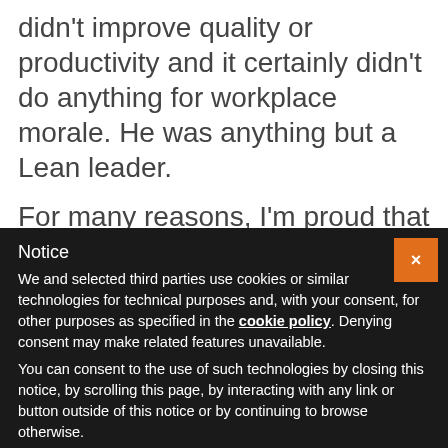didn't improve quality or productivity and it certainly didn't do anything for workplace morale. He was anything but a Lean leader.
For many reasons, I'm proud that Fitz and his coaching style are on display on the Northwestern sideline each Saturday. Go 'Cats!
What do you think? Scroll down to comment or
Notice
We and selected third parties use cookies or similar technologies for technical purposes and, with your consent, for other purposes as specified in the cookie policy. Denying consent may make related features unavailable.
You can consent to the use of such technologies by closing this notice, by scrolling this page, by interacting with any link or button outside of this notice or by continuing to browse otherwise.